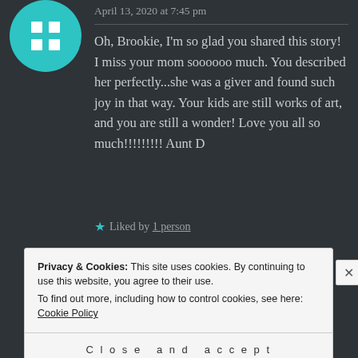[Figure (other): Teal circular avatar with white grid/table icon (four squares in a 2x2 grid)]
April 13, 2020 at 7:45 pm
Oh, Brookie, I'm so glad you shared this story! I miss your mom soooooo much. You described her perfectly...she was a giver and found such joy in that way. Your kids are still works of art, and you are still a wonder! Love you all so much!!!!!!!!! Aunt D
★ Liked by 1 person
Privacy & Cookies: This site uses cookies. By continuing to use this website, you agree to their use.
To find out more, including how to control cookies, see here: Cookie Policy
Close and accept